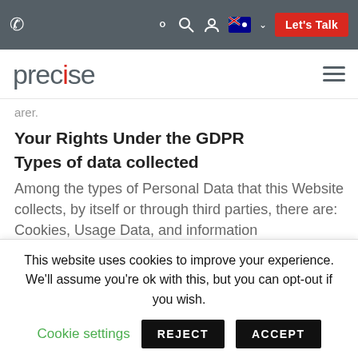Precise website navigation bar with phone icon, search icon, user icon, Australian flag, chevron, and Let's Talk button
precise [logo] with hamburger menu
arer.
Your Rights Under the GDPR
Types of data collected
Among the types of Personal Data that this Website collects, by itself or through third parties, there are: Cookies, Usage Data, and information
This website uses cookies to improve your experience. We'll assume you're ok with this, but you can opt-out if you wish.
Cookie settings  REJECT  ACCEPT